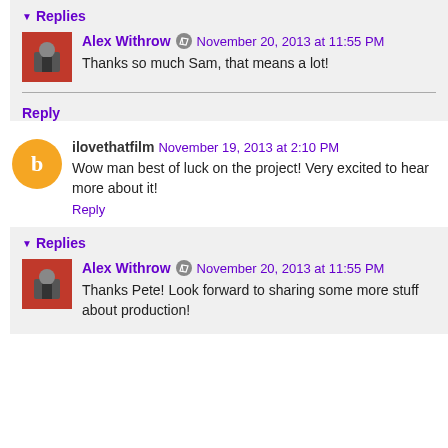Replies
Alex Withrow · November 20, 2013 at 11:55 PM
Thanks so much Sam, that means a lot!
Reply
ilovethatfilm November 19, 2013 at 2:10 PM
Wow man best of luck on the project! Very excited to hear more about it!
Reply
Replies
Alex Withrow · November 20, 2013 at 11:55 PM
Thanks Pete! Look forward to sharing some more stuff about production!